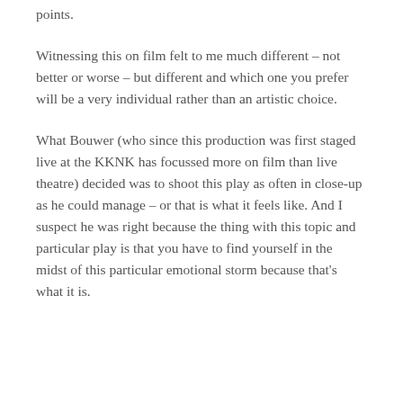points.
Witnessing this on film felt to me much different – not better or worse – but different and which one you prefer will be a very individual rather than an artistic choice.
What Bouwer (who since this production was first staged live at the KKNK has focussed more on film than live theatre) decided was to shoot this play as often in close-up as he could manage – or that is what it feels like. And I suspect he was right because the thing with this topic and particular play is that you have to find yourself in the midst of this particular emotional storm because that's what it is.